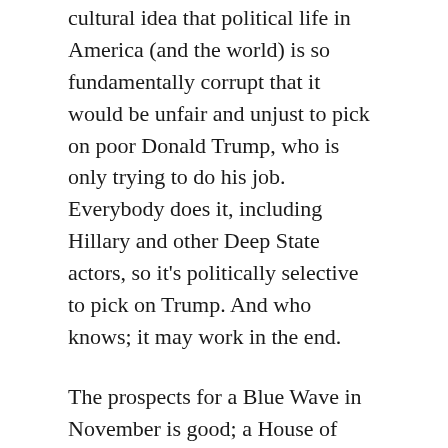cultural idea that political life in America (and the world) is so fundamentally corrupt that it would be unfair and unjust to pick on poor Donald Trump, who is only trying to do his job. Everybody does it, including Hillary and other Deep State actors, so it's politically selective to pick on Trump. And who knows; it may work in the end.
The prospects for a Blue Wave in November is good; a House of Representatives controlled by Democrats fired up with new blood like Alexandra Ocasio-Cortez versus the gang of loathsome Republican toads we have now has to be an improvement. If the stars really line up and the Senate goes Democratic, impeachment and conviction becomes a very real possibility. Of course, if Trump were to be convicted by the Senate, citizens would have a President Pence to deal with. But with a first-time-in-history impeachment conviction and a president who refuse to resign run to ground, the Republican Party would have to absorb a mortal blow and